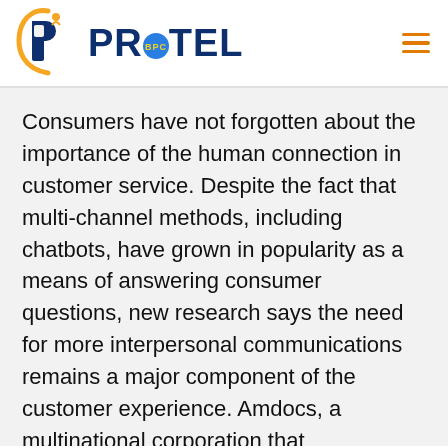PROTEL BPC
Consumers have not forgotten about the importance of the human connection in customer service. Despite the fact that multi-channel methods, including chatbots, have grown in popularity as a means of answering consumer questions, new research says the need for more interpersonal communications remains a major component of the customer experience. Amdocs, a multinational corporation that